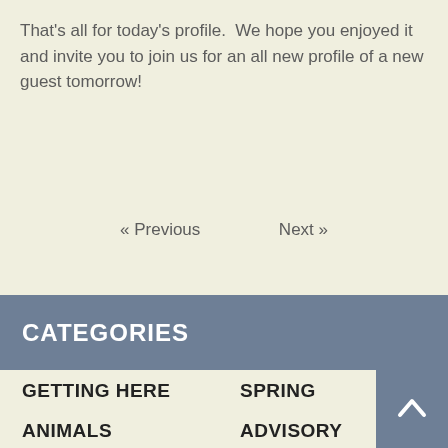That's all for today's profile.  We hope you enjoyed it and invite you to join us for an all new profile of a new guest tomorrow!
« Previous    Next »
CATEGORIES
GETTING HERE
ANIMALS
SCENERY
SPRING
ADVISORY
SUMMER